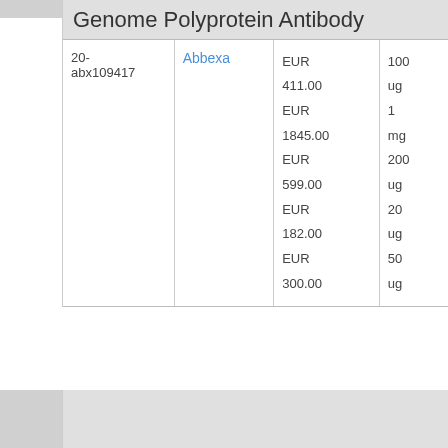Genome Polyprotein Antibody
| Catalog Number | Supplier | Price | Size |
| --- | --- | --- | --- |
| 20-abx109417 | Abbexa | EUR 411.00 | 100 ug |
| 20-abx109417 | Abbexa | EUR 1845.00 | 1 mg |
| 20-abx109417 | Abbexa | EUR 599.00 | 200 ug |
| 20-abx109417 | Abbexa | EUR 182.00 | 20 ug |
| 20-abx109417 | Abbexa | EUR 300.00 | 50 ug |